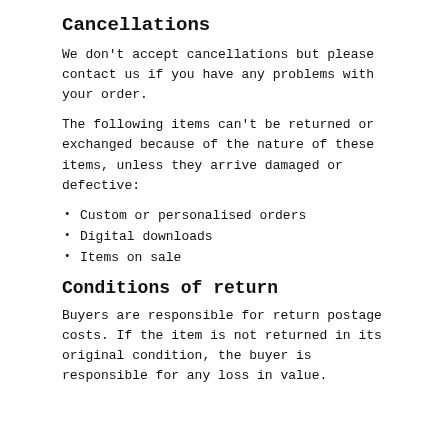Cancellations
We don't accept cancellations but please contact us if you have any problems with your order.
The following items can't be returned or exchanged because of the nature of these items, unless they arrive damaged or defective:
Custom or personalised orders
Digital downloads
Items on sale
Conditions of return
Buyers are responsible for return postage costs. If the item is not returned in its original condition, the buyer is responsible for any loss in value.